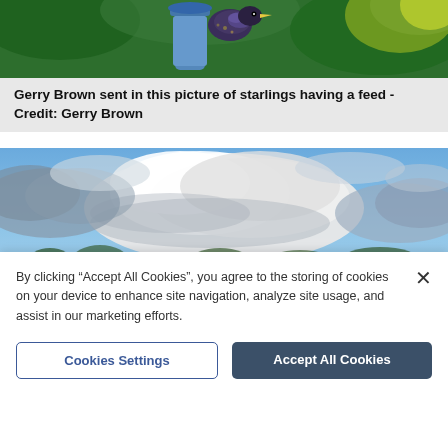[Figure (photo): Close-up photo of starlings at a bird feeder with green foliage background, cropped at top]
Gerry Brown sent in this picture of starlings having a feed - Credit: Gerry Brown
[Figure (photo): Landscape photo of a green field under a dramatic cloudy sky with blue patches]
By clicking “Accept All Cookies”, you agree to the storing of cookies on your device to enhance site navigation, analyze site usage, and assist in our marketing efforts.
Cookies Settings
Accept All Cookies